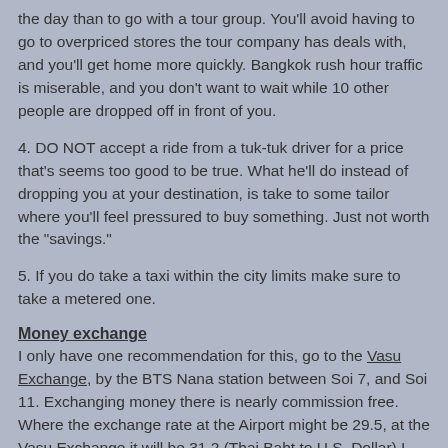the day than to go with a tour group. You'll avoid having to go to overpriced stores the tour company has deals with, and you'll get home more quickly. Bangkok rush hour traffic is miserable, and you don't want to wait while 10 other people are dropped off in front of you.
4. DO NOT accept a ride from a tuk-tuk driver for a price that's seems too good to be true. What he'll do instead of dropping you at your destination, is take to some tailor where you'll feel pressured to buy something. Just not worth the "savings."
5. If you do take a taxi within the city limits make sure to take a metered one.
Money exchange
I only have one recommendation for this, go to the Vasu Exchange, by the BTS Nana station between Soi 7, and Soi 11. Exchanging money there is nearly commission free. Where the exchange rate at the Airport might be 29.5, at the Vasu Exchange it will be 31.2 (Thai Baht to U.S. Dollar) I have looked at over 100 exchanges, and nothing else comes close.